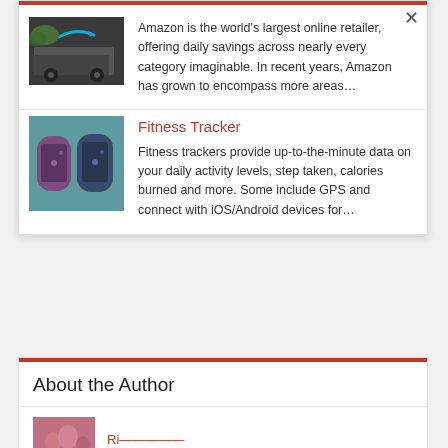[Figure (photo): Amazon branded delivery vehicle with teal Amazon arrow logo]
Amazon is the world's largest online retailer, offering daily savings across nearly every category imaginable. In recent years, Amazon has grown to encompass more areas…
Fitness Tracker
[Figure (photo): Two fitness tracker wristbands, one purple and one dark blue, on a teal background]
Fitness trackers provide up-to-the-minute data on your daily activity levels, step taken, calories burned and more. Some include GPS and connect with iOS/Android devices for…
About the Author
[Figure (photo): Author photo thumbnail showing flowers]
Author name in red